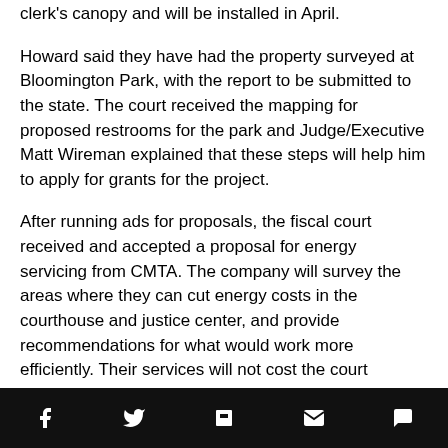clerk's canopy and will be installed in April.
Howard said they have had the property surveyed at Bloomington Park, with the report to be submitted to the state. The court received the mapping for proposed restrooms for the park and Judge/Executive Matt Wireman explained that these steps will help him to apply for grants for the project.
After running ads for proposals, the fiscal court received and accepted a proposal for energy servicing from CMTA. The company will survey the areas where they can cut energy costs in the courthouse and justice center, and provide recommendations for what would work more efficiently. Their services will not cost the court anything, Wireman explained, and they will still be able to decide which suggestions they want to pursue.
Social share bar: Facebook, Twitter, Flipboard, Email, Comment